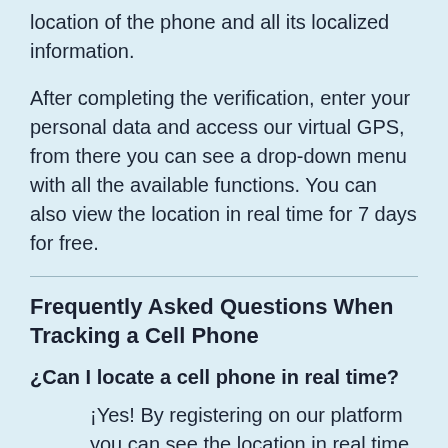location of the phone and all its localized information.
After completing the verification, enter your personal data and access our virtual GPS, from there you can see a drop-down menu with all the available functions. You can also view the location in real time for 7 days for free.
Frequently Asked Questions When Tracking a Cell Phone
¿Can I locate a cell phone in real time?
¡Yes! By registering on our platform you can see the location in real time,